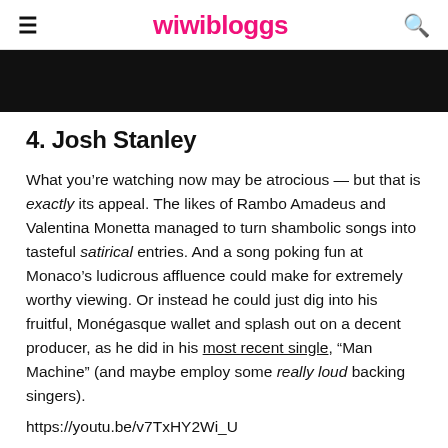wiwibloggs
[Figure (photo): Dark/black partial image at the top of the article, likely a cropped photo]
4. Josh Stanley
What you're watching now may be atrocious — but that is exactly its appeal. The likes of Rambo Amadeus and Valentina Monetta managed to turn shambolic songs into tasteful satirical entries. And a song poking fun at Monaco's ludicrous affluence could make for extremely worthy viewing. Or instead he could just dig into his fruitful, Monégasque wallet and splash out on a decent producer, as he did in his most recent single, "Man Machine" (and maybe employ some really loud backing singers).
https://youtu.be/v7TxHY2Wi_U